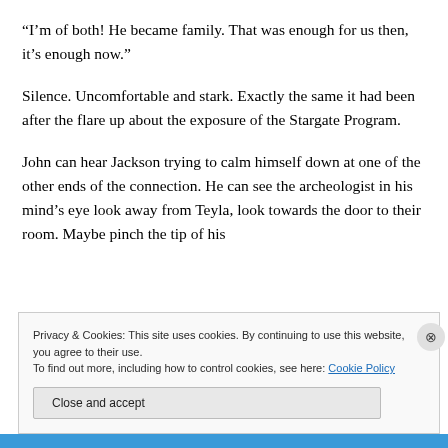“I’m of both! He became family. That was enough for us then, it’s enough now.”
Silence. Uncomfortable and stark. Exactly the same it had been after the flare up about the exposure of the Stargate Program.
John can hear Jackson trying to calm himself down at one of the other ends of the connection. He can see the archeologist in his mind’s eye look away from Teyla, look towards the door to their room. Maybe pinch the tip of his
Privacy & Cookies: This site uses cookies. By continuing to use this website, you agree to their use.
To find out more, including how to control cookies, see here: Cookie Policy